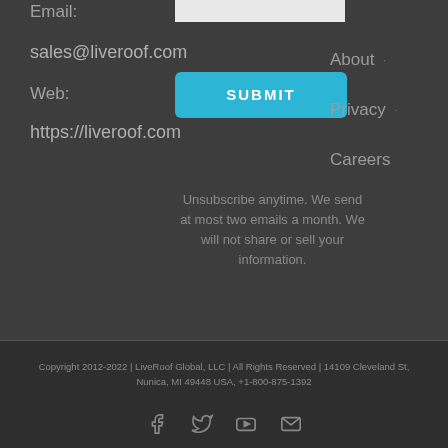Email:
sales@liveroof.com
Web:
https://liveroof.com
Unsubscribe anytime. We send at most two emails a month. We will not share or sell your information.
About
Privacy
Careers
Copyright 2012-2022 | LiveRoof Global, LLC | All Rights Reserved | 14109 Cleveland St, Nunica, MI 49448 USA, +1-800-875-1392